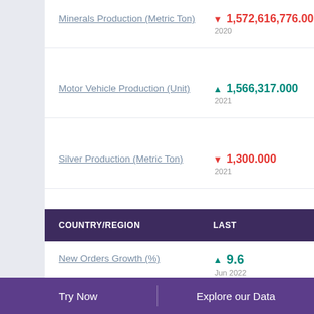Minerals Production (Metric Ton)
Motor Vehicle Production (Unit)
Silver Production (Metric Ton)
| COUNTRY/REGION | LAST |
| --- | --- |
| New Orders Growth (%) | ▲ 9.6
Jun 2022 |
| COUNTRY/REGION | LAST |
| --- | --- |
Try Now    Explore our Data